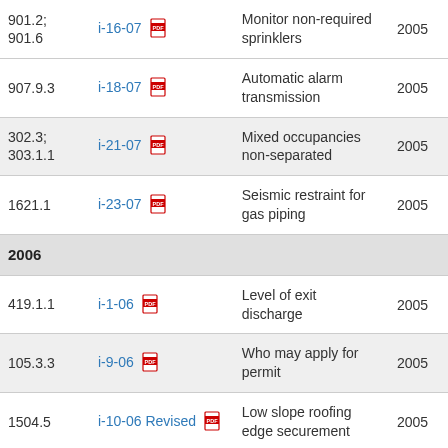| Section | Item | Description | Year |
| --- | --- | --- | --- |
| 901.2; 901.6 | i-16-07 | Monitor non-required sprinklers | 2005 |
| 907.9.3 | i-18-07 | Automatic alarm transmission | 2005 |
| 302.3; 303.1.1 | i-21-07 | Mixed occupancies non-separated | 2005 |
| 1621.1 | i-23-07 | Seismic restraint for gas piping | 2005 |
| 2006 |  |  |  |
| 419.1.1 | i-1-06 | Level of exit discharge | 2005 |
| 105.3.3 | i-9-06 | Who may apply for permit | 2005 |
| 1504.5 | i-10-06 Revised | Low slope roofing edge securement | 2005 |